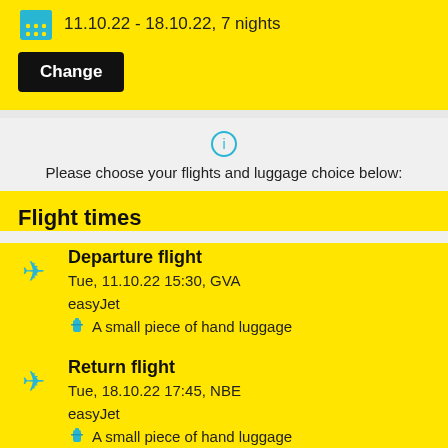11.10.22 - 18.10.22, 7 nights
Change
Please choose your flights and luggage choice below:
Flight times
Departure flight
Tue, 11.10.22 15:30, GVA
easyJet
A small piece of hand luggage
Return flight
Tue, 18.10.22 17:45, NBE
easyJet
A small piece of hand luggage
Details